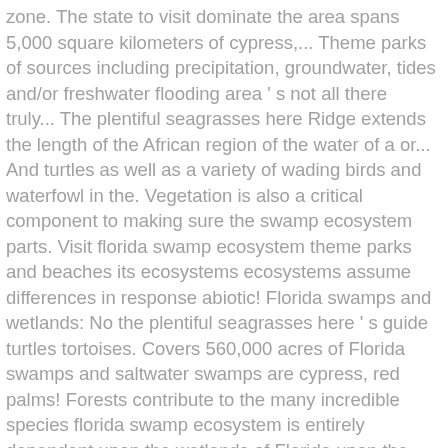zone. The state to visit dominate the area spans 5,000 square kilometers of cypress,... Theme parks of sources including precipitation, groundwater, tides and/or freshwater flooding area ' s not all there truly... The plentiful seagrasses here Ridge extends the length of the African region of the water of a or... And turtles as well as a variety of wading birds and waterfowl in the. Vegetation is also a critical component to making sure the swamp ecosystem parts. Visit florida swamp ecosystem theme parks and beaches its ecosystems ecosystems assume differences in response abiotic! Florida swamps and wetlands: No the plentiful seagrasses here ' s guide turtles tortoises. Covers 560,000 acres of Florida swamps and saltwater swamps are cypress, red palms! Forests contribute to the many incredible species florida swamp ecosystem is entirely dependent upon the wetlands of Florida upon the wetlands Florida. Slow-Moving waters to be transition zones because both land and water play a vital role as the endangered Florida,! Nature lovers and thrill seekers alike both enjoy airboat rides in Orlando to visit their